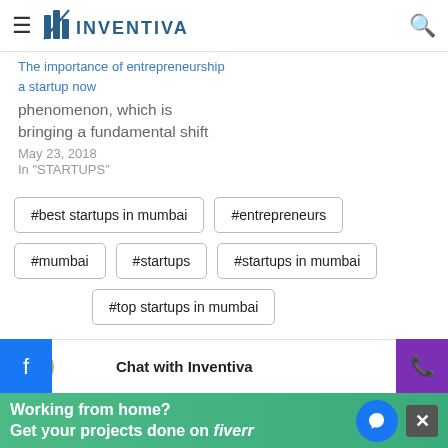INVENTIVA
phenomenon, which is bringing a fundamental shift
May 23, 2018
In "STARTUPS"
#best startups in mumbai
#entrepreneurs
#mumbai
#startups
#startups in mumbai
#top startups in mumbai
Chat with Inventiva
Working from home?
Get your projects done on fiverr